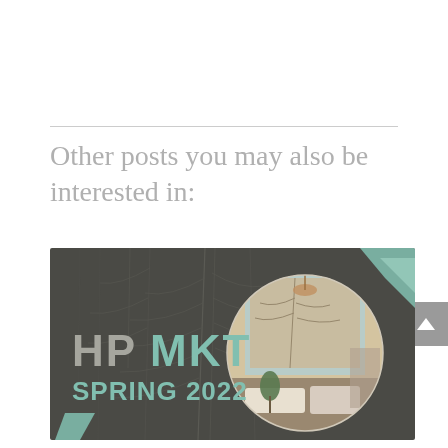Other posts you may also be interested in:
[Figure (illustration): HPMKT Spring 2022 promotional banner image showing dark background with botanical plants, circular inset of an interior design showroom, and mint green triangle decorative elements. Text reads HPMKT SPRING 2022.]